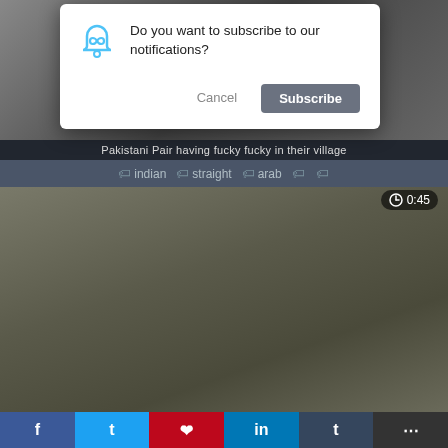[Figure (screenshot): Top portion of a video thumbnail page with blurred content]
Do you want to subscribe to our notifications?
Cancel
Subscribe
Pakistani Pair having fucky fucky in their village
#indian  #straight  #arab
[Figure (screenshot): Main video thumbnail showing blurred content with 0:45 timer]
0:45
f  t  p  in  t  more